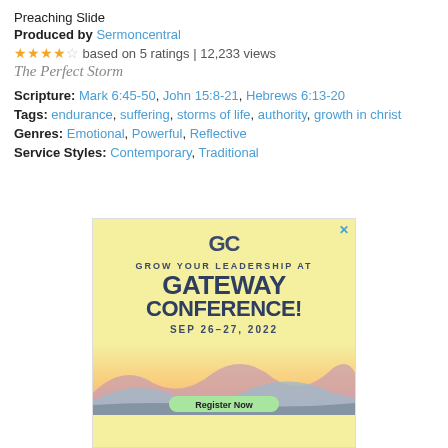Preaching Slide
Produced by Sermoncentral
★★★★☆ based on 5 ratings | 12,233 views
The Perfect Storm
Scripture: Mark 6:45-50, John 15:8-21, Hebrews 6:13-20
Tags: endurance, suffering, storms of life, authority, growth in christ
Genres: Emotional, Powerful, Reflective
Service Styles: Contemporary, Traditional
[Figure (illustration): Advertisement banner for Gateway Conference with yellow background, GC logo, text 'GROW YOUR LEADERSHIP AT GATEWAY CONFERENCE! SEP 26-27, 2022', mountain landscape imagery, and Register Now button]